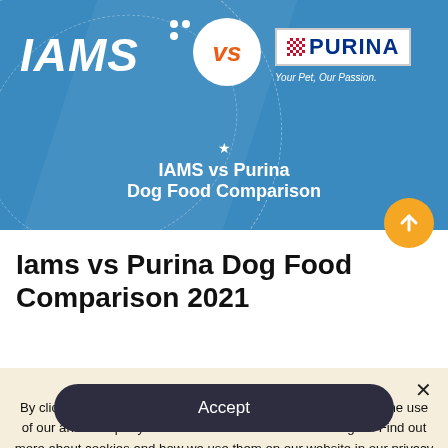[Figure (infographic): IAMS vs Purina dog food comparison banner with IAMS logo on left, VS circle in middle, Purina logo on right, on blue background with text 'IAMS vs Purina Dog Food Comparison']
Iams vs Purina Dog Food Comparison 2021
By clicking "Accept" or continuing to use the site, you agree to the use of our and third-party cookies and other similar technologies. Find out more about cookies and how we use them on our website in our privacy policy.